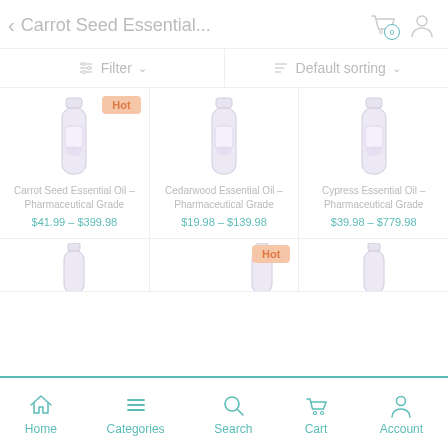Carrot Seed Essential...
Filter   Default sorting
[Figure (photo): Product card: Carrot Seed Essential Oil – Pharmaceutical Grade, price $41.99 – $399.98, Hot badge]
[Figure (photo): Product card: Cedarwood Essential Oil – Pharmaceutical Grade, price $19.98 – $139.98]
[Figure (photo): Product card: Cypress Essential Oil – Pharmaceutical Grade, price $39.98 – $779.98]
Home   Categories   Search   Cart   Account